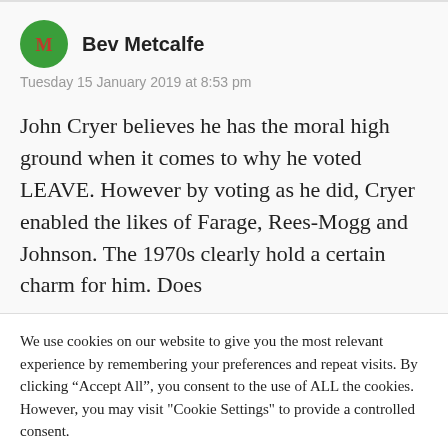[Figure (illustration): Green circular avatar with white stylized 'M' or monogram letters]
Bev Metcalfe
Tuesday 15 January 2019 at 8:53 pm
John Cryer believes he has the moral high ground when it comes to why he voted LEAVE. However by voting as he did, Cryer enabled the likes of Farage, Rees-Mogg and Johnson. The 1970s clearly hold a certain charm for him. Does
We use cookies on our website to give you the most relevant experience by remembering your preferences and repeat visits. By clicking “Accept All”, you consent to the use of ALL the cookies. However, you may visit "Cookie Settings" to provide a controlled consent.
Cookie Settings
Accept All